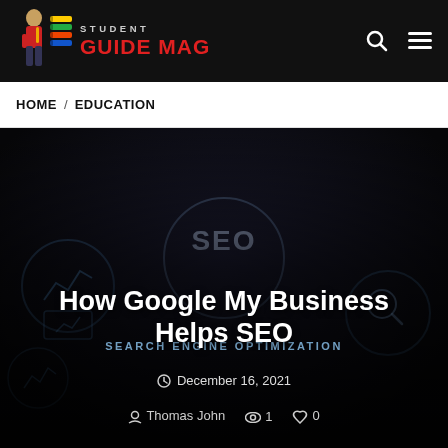STUDENT GUIDE MAG
HOME / EDUCATION
[Figure (photo): Dark hero banner image showing a hand holding a smartphone with SEO-related icons (search engine optimization circular diagrams, line charts, magnifying glass) in the background. Overlaid with article title, date, author, and engagement metrics.]
How Google My Business Helps SEO
SEARCH ENGINE OPTIMIZATION
December 16, 2021
Thomas John  1  0